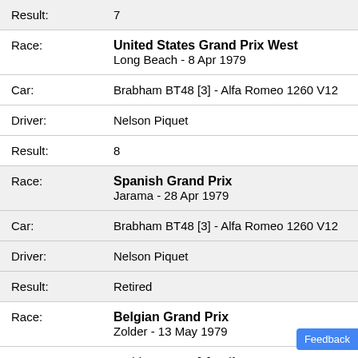| Result: | 7 |
| Race: | United States Grand Prix West
Long Beach - 8 Apr 1979 |
| Car: | Brabham BT48 [3] - Alfa Romeo 1260 V12 |
| Driver: | Nelson Piquet |
| Result: | 8 |
| Race: | Spanish Grand Prix
Jarama - 28 Apr 1979 |
| Car: | Brabham BT48 [3] - Alfa Romeo 1260 V12 |
| Driver: | Nelson Piquet |
| Result: | Retired |
| Race: | Belgian Grand Prix
Zolder - 13 May 1979 |
| Car: | Brabham BT48 [3] - Alfa Romeo 1260 V12 |